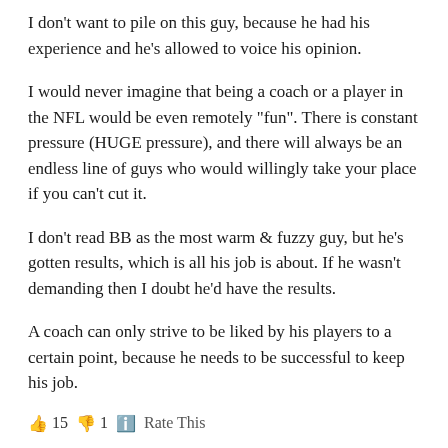I don’t want to pile on this guy, because he had his experience and he’s allowed to voice his opinion.
I would never imagine that being a coach or a player in the NFL would be even remotely “fun”. There is constant pressure (HUGE pressure), and there will always be an endless line of guys who would willingly take your place if you can’t cut it.
I don’t read BB as the most warm & fuzzy guy, but he’s gotten results, which is all his job is about. If he wasn’t demanding then I doubt he’d have the results.
A coach can only strive to be liked by his players to a certain point, because he needs to be successful to keep his job.
👍 15 👎 1 ℹ️  Rate This
danimal1974 says:
July 14, 2021 at 10:40 am
While we’re at it, Michael Jordan didn’t win any NBA titles